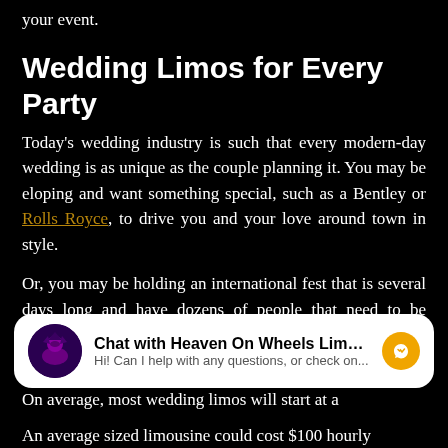your event.
Wedding Limos for Every Party
Today's wedding industry is such that every modern-day wedding is as unique as the couple planning it. You may be eloping and want something special, such as a Bentley or Rolls Royce, to drive you and your love around town in style.
Or, you may be holding an international fest that is several days long and have dozens of people that need to be transported from this venue to the next.
There are wedding limos for every size of event and party. On average, most wedding limos will start at a
[Figure (screenshot): Chat widget showing 'Chat with Heaven On Wheels Limo...' with avatar, subtitle 'Hi! Can I help with any questions, or check on...' and a messenger icon]
An average sized limousine could cost $100 hourly